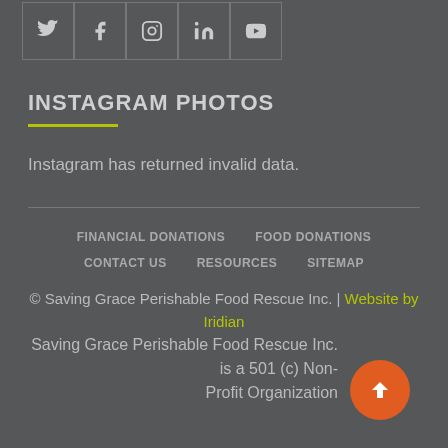[Figure (other): Social media icons: Twitter, Facebook, Instagram, LinkedIn, YouTube in bordered boxes]
INSTAGRAM PHOTOS
Instagram has returned invalid data.
FINANCIAL DONATIONS   FOOD DONATIONS   CONTACT US   RESOURCES   SITEMAP
© Saving Grace Perishable Food Rescue Inc. | Website by Iridian
Saving Grace Perishable Food Rescue Inc. is a 501 (c) Non-Profit Organization